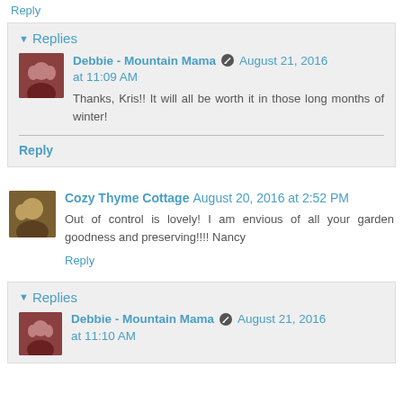Reply
Replies
Debbie - Mountain Mama  August 21, 2016 at 11:09 AM
Thanks, Kris!! It will all be worth it in those long months of winter!
Reply
Cozy Thyme Cottage  August 20, 2016 at 2:52 PM
Out of control is lovely! I am envious of all your garden goodness and preserving!!!! Nancy
Reply
Replies
Debbie - Mountain Mama  August 21, 2016 at 11:10 AM